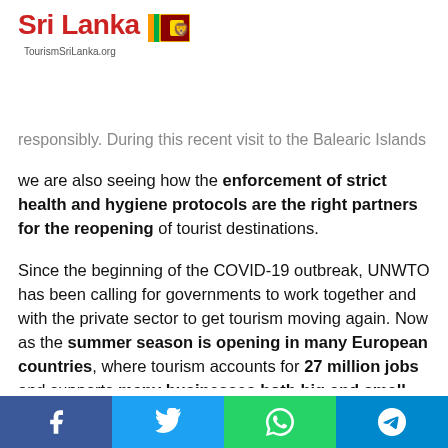Sri Lanka TourismSriLanka.org
responsibly. During this recent visit to the Balearic Islands we are also seeing how the enforcement of strict health and hygiene protocols are the right partners for the reopening of tourist destinations.
Since the beginning of the COVID-19 outbreak, UNWTO has been calling for governments to work together and with the private sector to get tourism moving again. Now as the summer season is opening in many European countries, where tourism accounts for 27 million jobs and supports many businesses both big and small, we reiterate our call.
Destinations, the tourism sector and its millions of employees have been preparing over the past months to